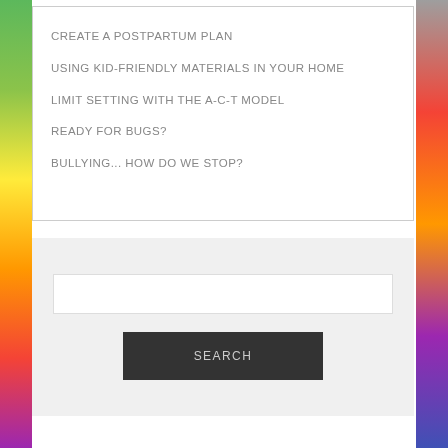CREATE A POSTPARTUM PLAN
USING KID-FRIENDLY MATERIALS IN YOUR HOME
LIMIT SETTING WITH THE A-C-T MODEL
READY FOR BUGS?
BULLYING... HOW DO WE STOP?